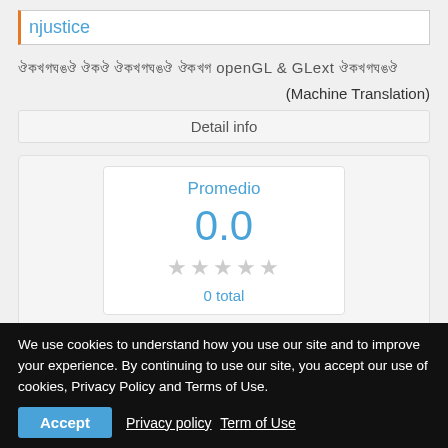njustice
ааааааа ааа ааааааа аааа openGL & GLext ааааааа
(Machine Translation)
Detail info
Promedio
0.0
0 total
Descargar
We use cookies to understand how you use our site and to improve your experience. By continuing to use our site, you accept our use of cookies, Privacy Policy and Terms of Use.
Accept  Privacy policy  Term of Use